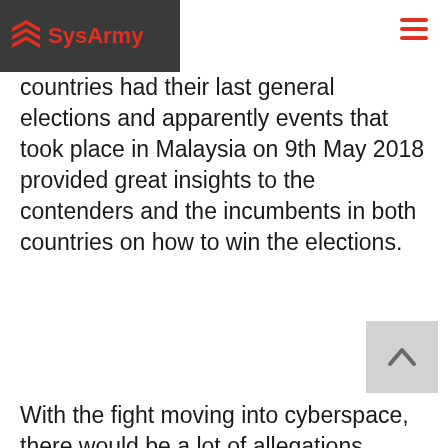SysArmy
countries had their last general elections and apparently events that took place in Malaysia on 9th May 2018 provided great insights to the contenders and the incumbents in both countries on how to win the elections.
With the fight moving into cyberspace, there would be a lot of allegations raised as to attempts to influence the election process including phishing and intrusion attempts on the voters registration database. As it appears that it may be too late for the authorities in both countries to do a tabletop exercise i.e., run hypothetical worst-case scenario drills in preparation for